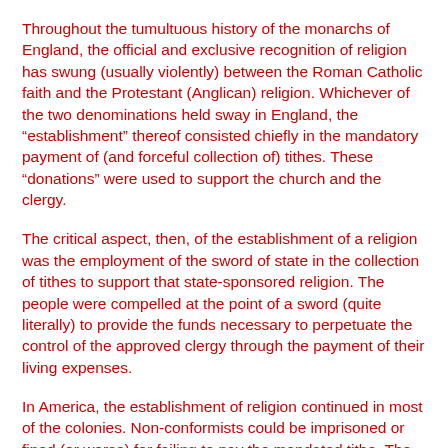Throughout the tumultuous history of the monarchs of England, the official and exclusive recognition of religion has swung (usually violently) between the Roman Catholic faith and the Protestant (Anglican) religion. Whichever of the two denominations held sway in England, the “establishment” thereof consisted chiefly in the mandatory payment of (and forceful collection of) tithes. These “donations” were used to support the church and the clergy.
The critical aspect, then, of the establishment of a religion was the employment of the sword of state in the collection of tithes to support that state-sponsored religion. The people were compelled at the point of a sword (quite literally) to provide the funds necessary to perpetuate the control of the approved clergy through the payment of their living expenses.
In America, the establishment of religion continued in most of the colonies. Non-conformists could be imprisoned or fined (or worse) for failing to pay the mandated tithe. The history of the founding of America, however, made the establishment